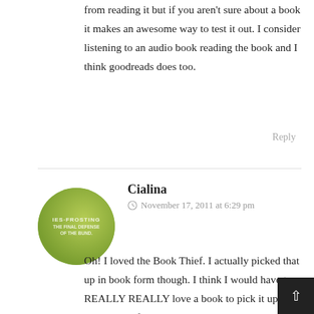from reading it but if you aren't sure about a book it makes an awesome way to test it out. I consider listening to an audio book reading the book and I think goodreads does too.
Reply
Cialina
November 17, 2011 at 6:29 pm
[Figure (photo): Green circular avatar with text 'IES FROSTING THE FINAL DEFENSE OF THE BUND']
Oh! I loved the Book Thief. I actually picked that up in book form though. I think I would have to REALLY REALLY love a book to pick it up physically after listening to the